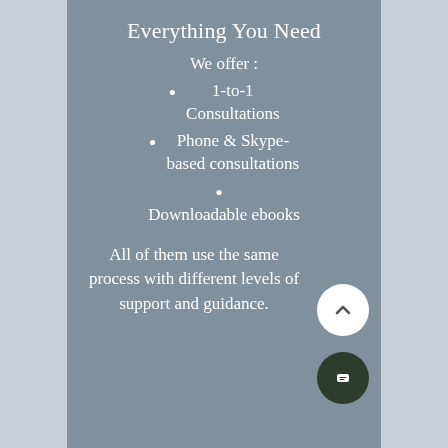Everything You Need
We offer :
1-to-1 Consultations
Phone & Skype-based consultations
Downloadable ebooks
All of them use the same process with different levels of support and guidance.